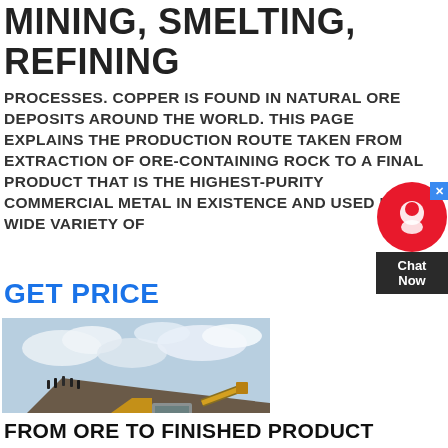MINING, SMELTING, REFINING
PROCESSES. COPPER IS FOUND IN NATURAL ORE DEPOSITS AROUND THE WORLD. THIS PAGE EXPLAINS THE PRODUCTION ROUTE TAKEN FROM EXTRACTION OF ORE-CONTAINING ROCK TO A FINAL PRODUCT THAT IS THE HIGHEST-PURITY COMMERCIAL METAL IN EXISTENCE AND USED IN A WIDE VARIETY OF
GET PRICE
[Figure (photo): Photograph of a yellow mobile mining crusher/screening machine at an open-pit mine site, with piles of crushed rock in the foreground and people visible on a hill in the background under a cloudy sky.]
FROM ORE TO FINISHED PRODUCT